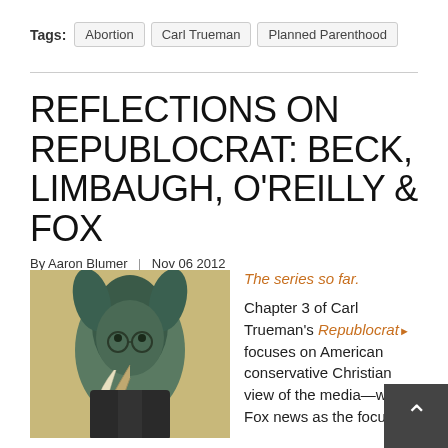Tags: Abortion  Carl Trueman  Planned Parenthood
REFLECTIONS ON REPUBLOCRAT: BECK, LIMBAUGH, O'REILLY & FOX
By Aaron Blumer  |  Nov 06 2012
[Figure (illustration): Stylized illustration of a hybrid donkey-elephant creature wearing a suit, combining Democratic donkey and Republican elephant features, rendered in greenish tones against a tan background.]
The series so far.
Chapter 3 of Carl Trueman's Republocrat focuses on American conservative Christian view of the media—with Fox news as the focus.